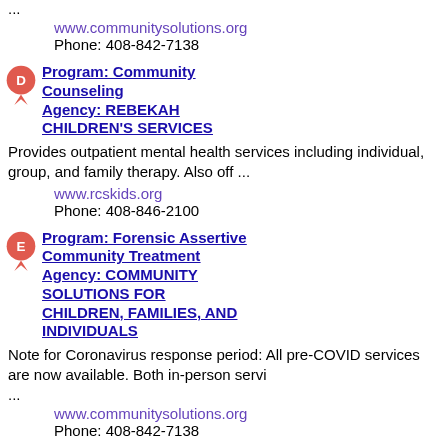... www.communitysolutions.org Phone: 408-842-7138
Program: Community Counseling Agency: REBEKAH CHILDREN'S SERVICES
Provides outpatient mental health services including individual, group, and family therapy. Also off ... www.rcskids.org Phone: 408-846-2100
Program: Forensic Assertive Community Treatment Agency: COMMUNITY SOLUTIONS FOR CHILDREN, FAMILIES, AND INDIVIDUALS
Note for Coronavirus response period: All pre-COVID services are now available. Both in-person servi ... www.communitysolutions.org Phone: 408-842-7138
Program: 24/7 Mobile Crisis Intervention